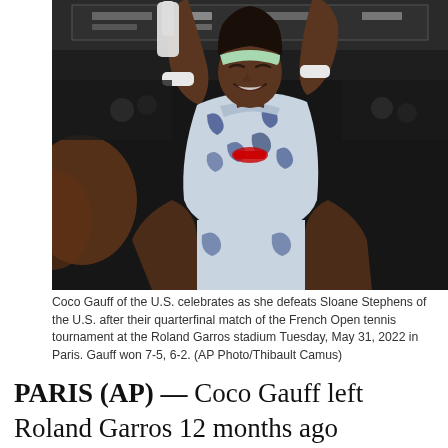[Figure (photo): Coco Gauff celebrating on court at Roland Garros, arms raised, holding a racket, wearing a white and blue floral outfit, smiling with eyes closed, crowd in background.]
Coco Gauff of the U.S. celebrates as she defeats Sloane Stephens of the U.S. after their quarterfinal match of the French Open tennis tournament at the Roland Garros stadium Tuesday, May 31, 2022 in Paris. Gauff won 7-5, 6-2. (AP Photo/Thibault Camus)
PARIS (AP) — Coco Gauff left Roland Garros 12 months ago crestfallen, knowing she let a big lead slip away in her major quarterfinal debut.